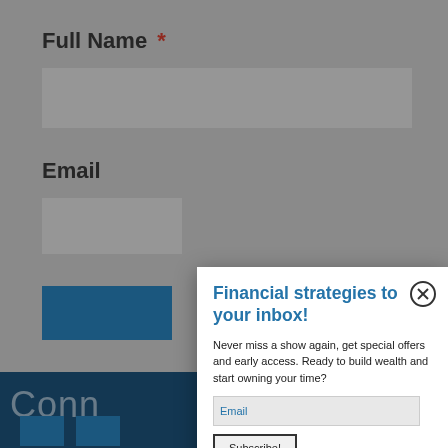Full Name *
Email
[Figure (screenshot): Background of a web form with Full Name and Email fields, a blue submit button, dark blue footer bar with 'Conn' text partially visible, and social media icons]
Financial strategies to your inbox!
Never miss a show again, get special offers and early access. Ready to build wealth and start owning your time?
Email
Subscribe!